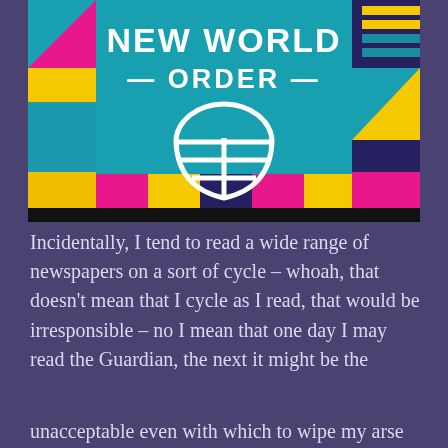[Figure (illustration): Colorful graphic banner with geometric shapes in teal, pink, yellow, and dark blue. Text reads 'NEW WORLD ORDER' with dashes flanking 'ORDER', and a white globe/grid icon below the text. Multicolored geometric pattern borders the image.]
Incidentally, I tend to read a wide range of newspapers on a sort of cycle – whoah, that doesn't mean that I cycle as I read, that would be irresponsible – no I mean that one day I may read the Guardian, the next it might be the
Privacy & Cookies: This site uses cookies. By continuing to use this website, you agree to their use.
To find out more, including how to control cookies, see here: Cookie Policy
Close and accept
unacceptable even with which to wipe my arse